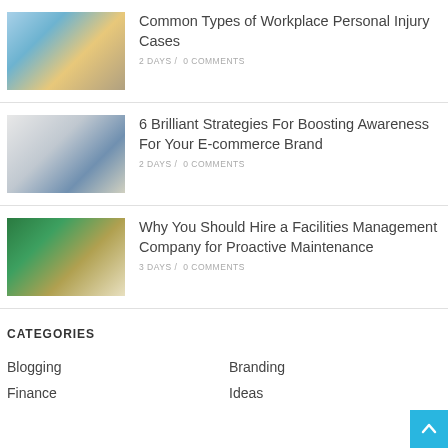[Figure (photo): Person working with tools, wearing blue top and yellow gloves]
Common Types of Workplace Personal Injury Cases
2 DAYS /  0 COMMENTS
[Figure (photo): Blue crumpled paper ball on notebook sketches]
6 Brilliant Strategies For Boosting Awareness For Your E-commerce Brand
2 DAYS /  0 COMMENTS
[Figure (photo): Interior of a shopping mall with escalators and green floor]
Why You Should Hire a Facilities Management Company for Proactive Maintenance
3 DAYS /  0 COMMENTS
CATEGORIES
Blogging
Branding
Finance
Ideas